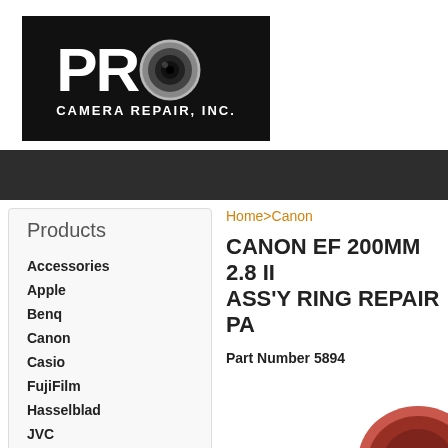[Figure (logo): Pro Camera Repair, Inc. logo with large PRO text (O replaced by camera lens) on black background]
Products
Accessories
Apple
Benq
Canon
Casio
FujiFilm
Hasselblad
JVC
Kodak
Home>Canon
CANON EF 200MM 2.8 II ASS'Y RING REPAIR PA
Part Number 5894
[Figure (photo): Partial product photo showing a camera lens ring repair part]